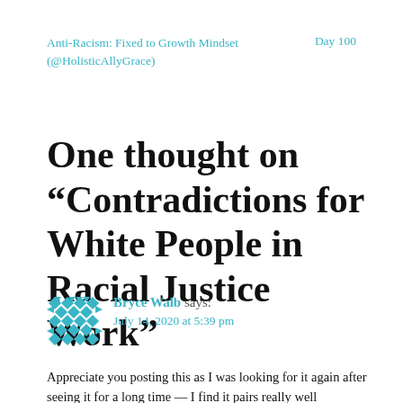Anti-Racism: Fixed to Growth Mindset (@HolisticAllyGrace)
Day 100
One thought on “Contradictions for White People in Racial Justice Work”
Bryce Walb says: July 14, 2020 at 5:39 pm
Appreciate you posting this as I was looking for it again after seeing it for a long time — I find it pairs really well...